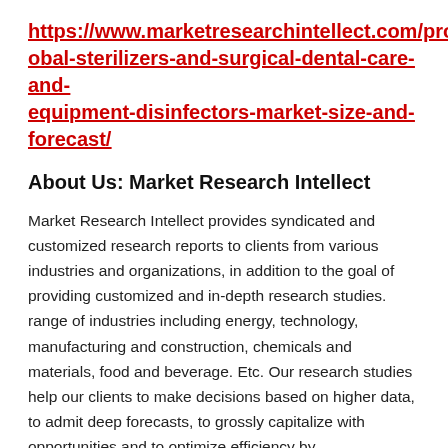https://www.marketresearchintellect.com/product/global-sterilizers-and-surgical-dental-care-and-equipment-disinfectors-market-size-and-forecast/
About Us: Market Research Intellect
Market Research Intellect provides syndicated and customized research reports to clients from various industries and organizations, in addition to the goal of providing customized and in-depth research studies. range of industries including energy, technology, manufacturing and construction, chemicals and materials, food and beverage. Etc. Our research studies help our clients to make decisions based on higher data, to admit deep forecasts, to grossly capitalize with opportunities and to optimize efficiency by